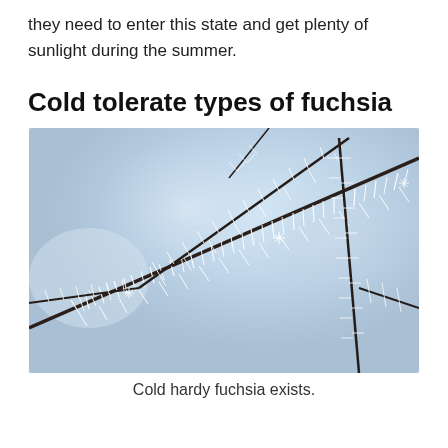they need to enter this state and get plenty of sunlight during the summer.
Cold tolerate types of fuchsia
[Figure (photo): Close-up photograph of frost-covered bare branches against a soft blue-grey blurred background. The branches are dark and thin with white crystalline ice/frost formations extending outward from them.]
Cold hardy fuchsia exists.